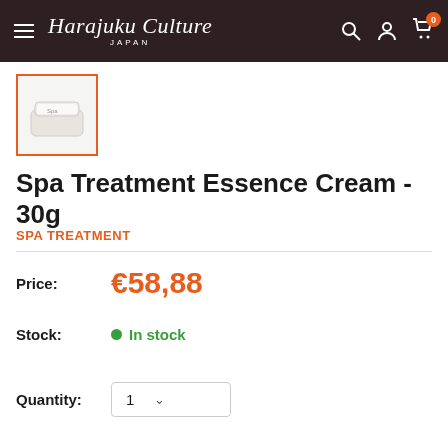Harajuku Culture JAPAN
[Figure (photo): Small white cream jar product thumbnail with orange border]
Spa Treatment Essence Cream - 30g
SPA TREATMENT
Price: €58,88
Stock: In stock
Quantity: 1